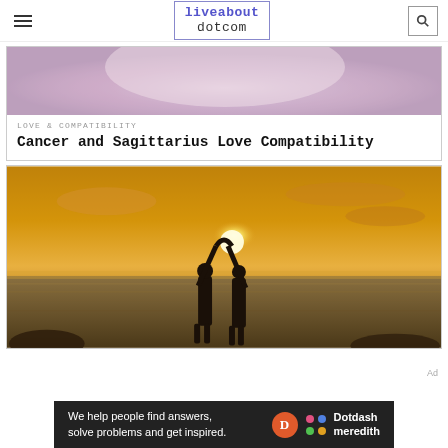liveabout dotcom
[Figure (photo): Partially visible image at the top of a card, showing a blurry pink/purple background scene]
LOVE & COMPATIBILITY
Cancer and Sagittarius Love Compatibility
[Figure (photo): Two people silhouetted against a golden sunset over the ocean, holding their arms up to form a heart shape]
Ad
We help people find answers, solve problems and get inspired. Dotdash meredith